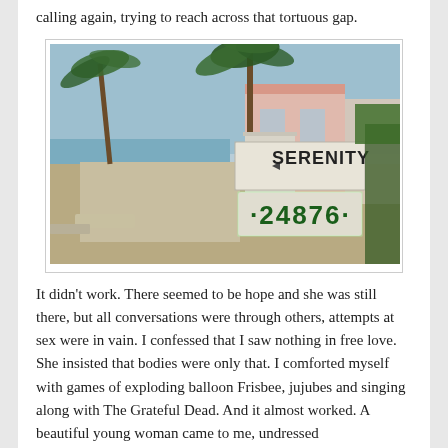calling again, trying to reach across that tortuous gap.
[Figure (photo): Photograph of a tropical beachside property with palm trees and a white concrete sign reading 'SERENITY' with the address '24876' on a lower tag, in front of a pink building. Sandy and gravelly road visible in foreground, ocean horizon in background.]
It didn't work. There seemed to be hope and she was still there, but all conversations were through others, attempts at sex were in vain. I confessed that I saw nothing in free love. She insisted that bodies were only that. I comforted myself with games of exploding balloon Frisbee, jujubes and singing along with The Grateful Dead. And it almost worked. A beautiful young woman came to me, undressed